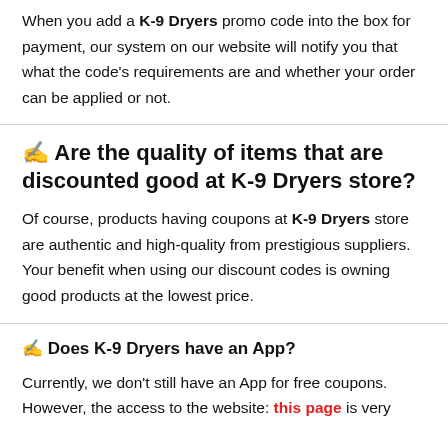When you add a K-9 Dryers promo code into the box for payment, our system on our website will notify you that what the code's requirements are and whether your order can be applied or not.
✍ Are the quality of items that are discounted good at K-9 Dryers store?
Of course, products having coupons at K-9 Dryers store are authentic and high-quality from prestigious suppliers. Your benefit when using our discount codes is owning good products at the lowest price.
✍ Does K-9 Dryers have an App?
Currently, we don't still have an App for free coupons. However, the access to the website: this page is very